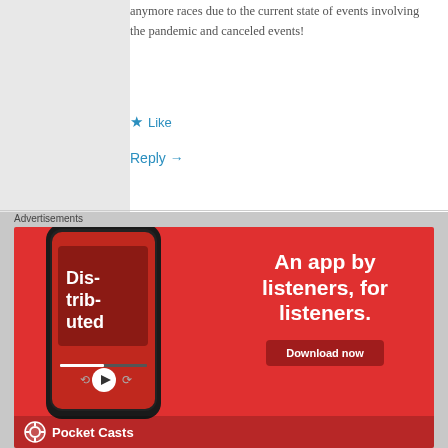anymore races due to the current state of events involving the pandemic and canceled events!
★ Like
Reply →
Advertisements
[Figure (illustration): Pocket Casts advertisement banner with red background showing a smartphone displaying a podcast app with text 'Dis-tri-buted', headline 'An app by listeners, for listeners.', a 'Download now' button, and the Pocket Casts logo at the bottom.]